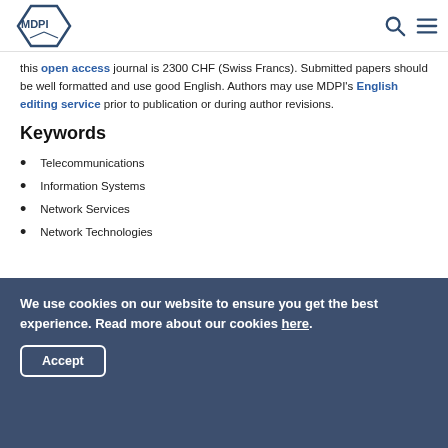MDPI
this open access journal is 2300 CHF (Swiss Francs). Submitted papers should be well formatted and use good English. Authors may use MDPI's English editing service prior to publication or during author revisions.
Keywords
Telecommunications
Information Systems
Network Services
Network Technologies (partial)
We use cookies on our website to ensure you get the best experience. Read more about our cookies here.